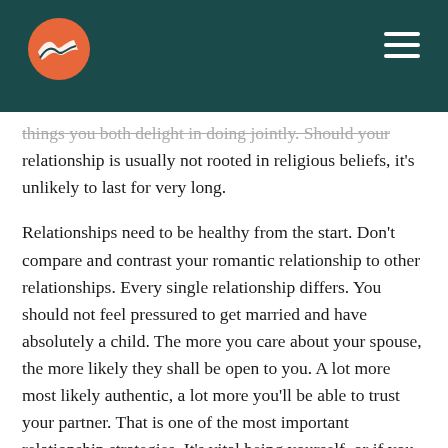[Logo and navigation bar]
things you both delight in doing jointly. Should your relationship is usually not rooted in religious beliefs, it's unlikely to last for very long.
Relationships need to be healthy from the start. Don't compare and contrast your romantic relationship to other relationships. Every single relationship differs. You should not feel pressured to get married and have absolutely a child. The more you care about your spouse, the more likely they shall be open to you. A lot more most likely authentic, a lot more you'll be able to trust your partner. That is one of the most important relationship strategies. It's vital being yourself, or if you partner definitely will appreciate it and